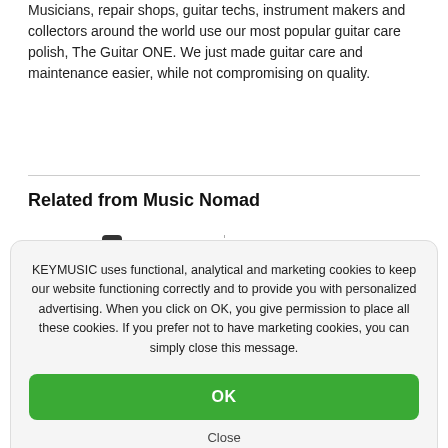Musicians, repair shops, guitar techs, instrument makers and collectors around the world use our most popular guitar care polish, The Guitar ONE. We just made guitar care and maintenance easier, while not compromising on quality.
Related from Music Nomad
[Figure (photo): Two product images side by side: left shows a small blue bottle of guitar polish, right shows a brown and blue packaged product (Music Nomad cleaning cloth/pad).]
KEYMUSIC uses functional, analytical and marketing cookies to keep our website functioning correctly and to provide you with personalized advertising. When you click on OK, you give permission to place all these cookies. If you prefer not to have marketing cookies, you can simply close this message.
OK
Close